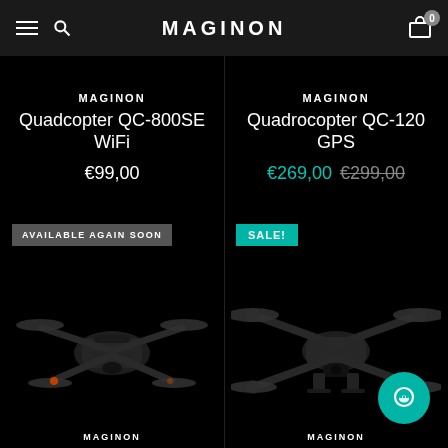MAGINON
MAGINON
Quadcopter QC-800SE WiFi
€99,00
AVAILABLE AGAIN SOON
[Figure (photo): Black quadcopter drone QC-800SE WiFi on dark background]
MAGINON
Quadrocopter QC-120 GPS
€269,00  €299,00
SALE!
[Figure (photo): Black quadrocopter drone QC-120 GPS on dark background]